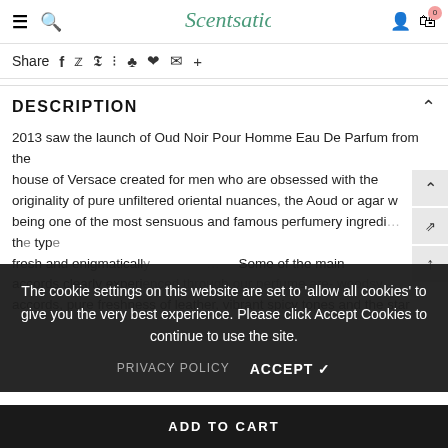≡  🔍  Scentsation  👤  🛒 0
Share  f  🐦  P  ⋮⋮  ♣  ♥  ✉  +
DESCRIPTION
2013 saw the launch of Oud Noir Pour Homme Eau De Parfum from the house of Versace created for men who are obsessed with the originality of pure unfiltered oriental nuances, the Aoud or agar w being one of the most sensuous and famous perfumery ingredi... the type fresh and enigmatically ... Some of the main accords clearly experienced through our perfume are- woodsy accords, pure freshness of leather, vibrant spicy tones and the star
The cookie settings on this website are set to 'allow all cookies' to give you the very best experience. Please click Accept Cookies to continue to use the site.
PRIVACY POLICY   ACCEPT ✔
ADD TO CART